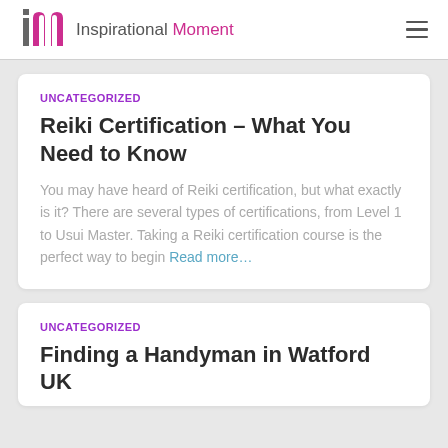Inspirational Moment
UNCATEGORIZED
Reiki Certification – What You Need to Know
You may have heard of Reiki certification, but what exactly is it? There are several types of certifications, from Level 1 to Usui Master. Taking a Reiki certification course is the perfect way to begin Read more…
UNCATEGORIZED
Finding a Handyman in Watford UK